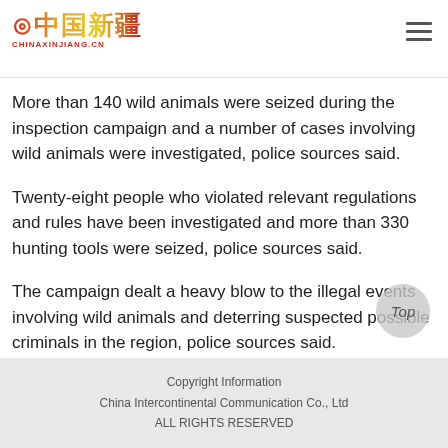CHINAXINJIANG.CN
More than 140 wild animals were seized during the inspection campaign and a number of cases involving wild animals were investigated, police sources said.
Twenty-eight people who violated relevant regulations and rules have been investigated and more than 330 hunting tools were seized, police sources said.
The campaign dealt a heavy blow to the illegal events involving wild animals and deterring suspected possible criminals in the region, police sources said.
Copyright Information
China Intercontinental Communication Co., Ltd
ALL RIGHTS RESERVED